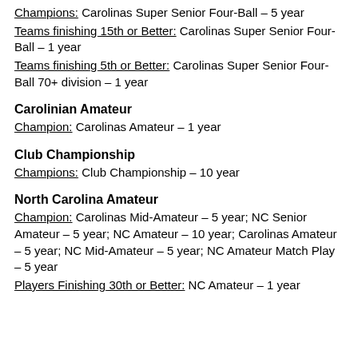Champions: Carolinas Super Senior Four-Ball – 5 year
Teams finishing 15th or Better: Carolinas Super Senior Four-Ball – 1 year
Teams finishing 5th or Better: Carolinas Super Senior Four-Ball 70+ division – 1 year
Carolinian Amateur
Champion: Carolinas Amateur – 1 year
Club Championship
Champions: Club Championship – 10 year
North Carolina Amateur
Champion: Carolinas Mid-Amateur – 5 year; NC Senior Amateur – 5 year; NC Amateur – 10 year; Carolinas Amateur – 5 year; NC Mid-Amateur – 5 year; NC Amateur Match Play – 5 year
Players Finishing 30th or Better: NC Amateur – 1 year